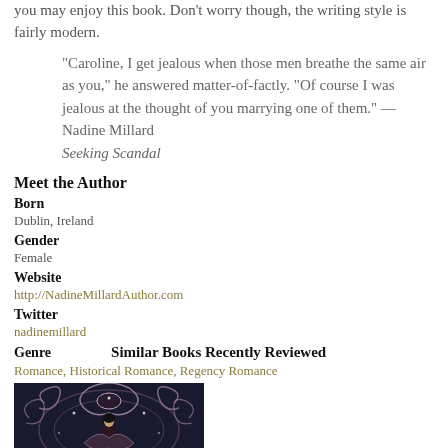you may enjoy this book. Don't worry though, the writing style is fairly modern.
"Caroline, I get jealous when those men breathe the same air as you," he answered matter-of-factly. "Of course I was jealous at the thought of you marrying one of them." — Nadine Millard Seeking Scandal
Meet the Author
Born
Dublin, Ireland
Gender
Female
Website
http://NadineMillardAuthor.com
Twitter
nadinemillard
Genre
Similar Books Recently Reviewed
Romance, Historical Romance, Regency Romance
[Figure (illustration): Book cover image with decorative masquerade/carnival theme in dark background with ornate design featuring a woman in costume]